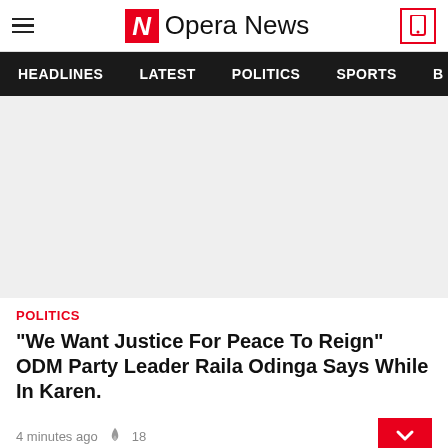Opera News
HEADLINES   LATEST   POLITICS   SPORTS
[Figure (photo): Light grey placeholder image for article]
POLITICS
"We Want Justice For Peace To Reign" ODM Party Leader Raila Odinga Says While In Karen.
4 minutes ago   18